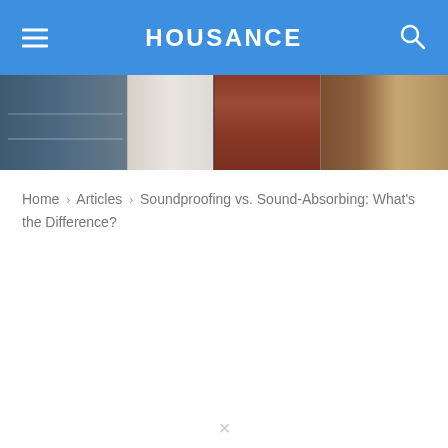HOUSANCE
[Figure (photo): Collage of interior home scenes: bookshelf with person, brick wall background, coffee cup on dark table, leather furniture]
Home › Articles › Soundproofing vs. Sound-Absorbing: What's the Difference?